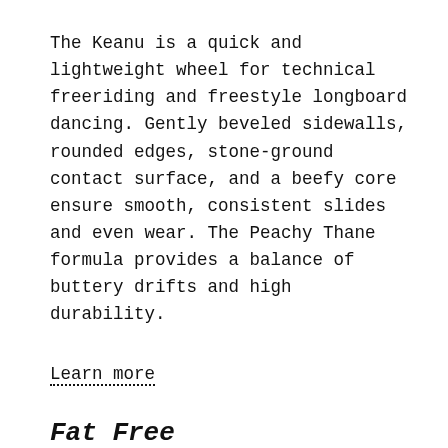The Keanu is a quick and lightweight wheel for technical freeriding and freestyle longboard dancing. Gently beveled sidewalls, rounded edges, stone-ground contact surface, and a beefy core ensure smooth, consistent slides and even wear. The Peachy Thane formula provides a balance of buttery drifts and high durability.
Learn more
Fat Free
The 65mm Fat Free fits perfectly on your favorite mini cruiser or double-kick longboard. Its compact size keeps your setup quick, lightweight, and flickable. Rounded lips and a